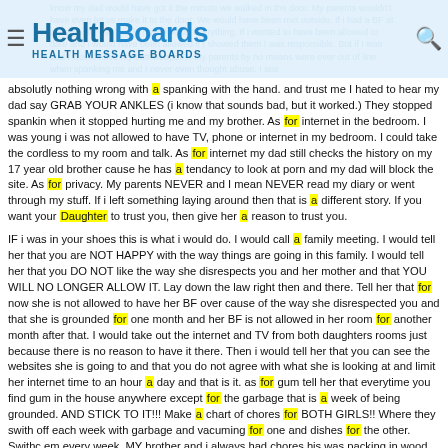HealthBoards HEALTH MESSAGE BOARDS
absolutly nothing wrong with a spanking with the hand. and trust me I hated to hear my dad say GRAB YOUR ANKLES (i know that sounds bad, but it worked.) They stopped spankin when it stopped hurting me and my brother. As for internet in the bedroom. I was young i was not allowed to have TV, phone or internet in my bedroom. I could take the cordless to my room and talk. As for internet my dad still checks the history on my 17 year old brother cause he has a tendancy to look at porn and my dad will block the site. As for privacy. My parents NEVER and I mean NEVER read my diary or went through my stuff. If i left something laying around then that is a different story. If you want your Daughter to trust you, then give her a reason to trust you.
IF i was in your shoes this is what i would do. I would call a family meeting. I would tell her that you are NOT HAPPY with the way things are going in this family. I would tell her that you DO NOT like the way she disrespects you and her mother and that YOU WILL NO LONGER ALLOW IT. Lay down the law right then and there. Tell her that for now she is not allowed to have her BF over cause of the way she disrespected you and that she is grounded for one month and her BF is not allowed in her room for another month after that. I would take out the internet and TV from both daughters rooms just because there is no reason to have it there. Then i would tell her that you can see the websites she is going to and that you do not agree with what she is looking at and limit her internet time to an hour a day and that is it. as for gum tell her that everytime you find gum in the house anywhere except for the garbage that is a week of being grounded. AND STICK TO IT!!! Make a chart of chores for BOTH GIRLS!! Where they swith off each week with garbage and vacuming for one and dishes for the other. Swithc em every week. MY brother and i always had chores his was packing in wood and taking out garbage and mine was dishes. We took turns cleaning our bathroom and our rooms had to stay clean. My parents didn't care if we missed dinner we had to stay in our room until they were clean. No fun until chores are done!! that was my dads motto!!! You know what i HATED MY DADS GUTS cause he was so hard on us. But